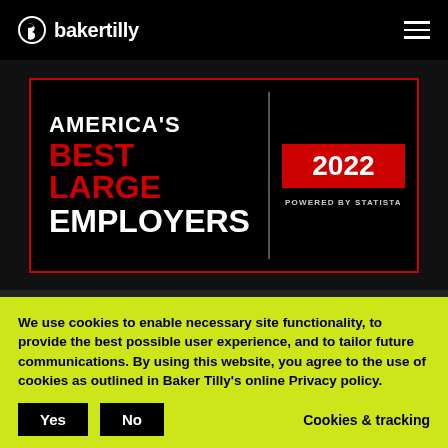bakertilly
[Figure (other): America's Best Large Employers 2022 award badge, powered by Statista. Black background with red border, red text for BEST LARGE, white text for AMERICA'S and EMPLOYERS, red box with 2022 in white, POWERED BY STATISTA text below.]
About Us
Industries
Careers
Events
Locations
Services
We use cookies to enable necessary site functionality, to provide the best possible user experience, and to tailor future communications. By using this website, you agree to the use of cookies as outlined in Baker Tilly's online Privacy policy.
Yes    No    Cookies & tracking